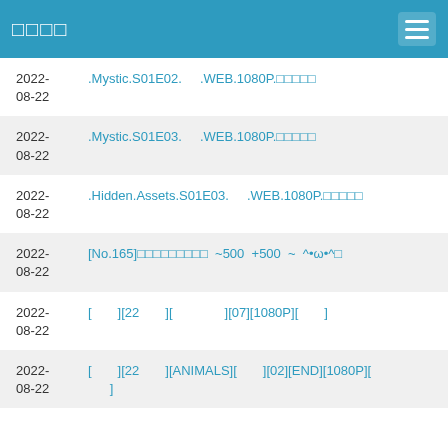□□□□
2022-08-22  .Mystic.S01E02.  .WEB.1080P.□□□□□
2022-08-22  .Mystic.S01E03.  .WEB.1080P.□□□□□
2022-08-22  .Hidden.Assets.S01E03.  .WEB.1080P.□□□□□
2022-08-22  [No.165]□□□□□□□□□  ~500  +500  ~  ^•ω•^□
2022-08-22  [　　][22　　][　　　　][07][1080P][　　]
2022-08-22  [　　][22　　][ANIMALS][　　][02][END][1080P][　　]